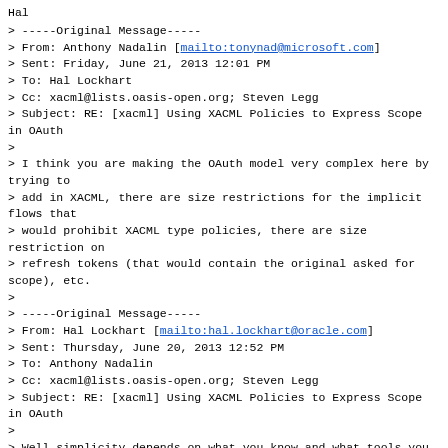Hal
> -----Original Message-----
> From: Anthony Nadalin [mailto:tonynad@microsoft.com]
> Sent: Friday, June 21, 2013 12:01 PM
> To: Hal Lockhart
> Cc: xacml@lists.oasis-open.org; Steven Legg
> Subject: RE: [xacml] Using XACML Policies to Express Scope in OAuth
>
> I think you are making the OAuth model very complex here by trying to
> add in XACML, there are size restrictions for the implicit flows that
> would prohibit XACML type policies, there are size restriction on
> refresh tokens (that would contain the original asked for scope), etc.
>
> -----Original Message-----
> From: Hal Lockhart [mailto:hal.lockhart@oracle.com]
> Sent: Thursday, June 20, 2013 12:52 PM
> To: Anthony Nadalin
> Cc: xacml@lists.oasis-open.org; Steven Legg
> Subject: RE: [xacml] Using XACML Policies to Express Scope in OAuth
>
> Well simplicity depends on what you know and what tools you have
> access to. Most OAuth types would describe writing a Javascript